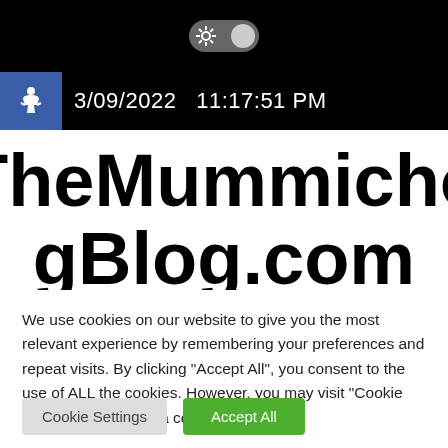[Figure (screenshot): Top black bar with a toggle switch icon (settings gear icon on a dark toggle pill)]
[Figure (screenshot): Status bar showing blue accessibility icon and date/time: 3/09/2022  11:17:51 PM on black background]
TheMummichogBlog.com
We use cookies on our website to give you the most relevant experience by remembering your preferences and repeat visits. By clicking "Accept All", you consent to the use of ALL the cookies. However, you may visit "Cookie Settings" to provide a controlled consent.
Cookie Settings | Accept All